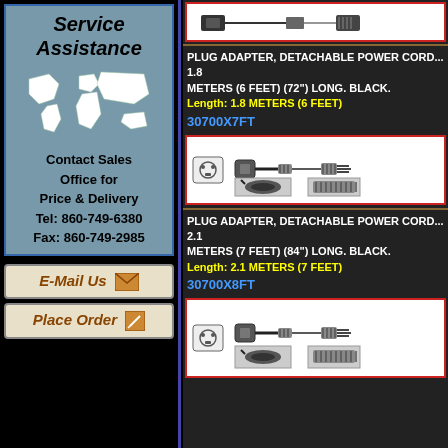Service Assistance
Contact Sales Office for Price & Delivery
Tel: 860-749-6380
Fax: 860-749-2985
E-Mail Us
Place Order
PLUG ADAPTER, DETACHABLE POWER CORD... 1.8 METERS (6 FEET) (72") LONG. BLACK.
Length: 1.8 METERS (6 FEET)
30700X7FT
[Figure (illustration): Power cord plug adapter illustration with IEC connectors and photo of C14 plug]
PLUG ADAPTER, DETACHABLE POWER CORD... 2.1 METERS (7 FEET) (84") LONG. BLACK.
Length: 2.1 METERS (7 FEET)
30700X8FT
[Figure (illustration): Power cord plug adapter illustration with IEC connectors and photo of C14 plug]